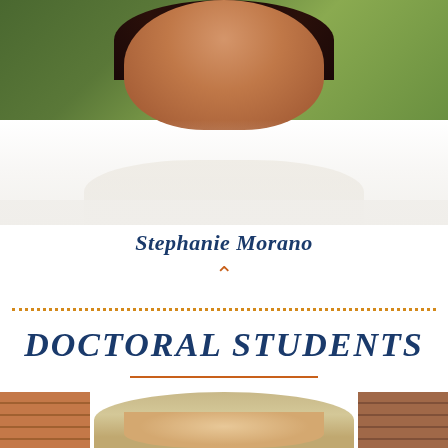[Figure (photo): Portrait photo of a smiling woman with dark hair wearing a white top, photographed outdoors with green foliage in background. Name overlay reads Stephanie Morano with an upward-pointing orange chevron below.]
Stephanie Morano
DOCTORAL STUDENTS
[Figure (photo): Partial portrait photo of a person with light blonde hair in front of a brick wall background.]